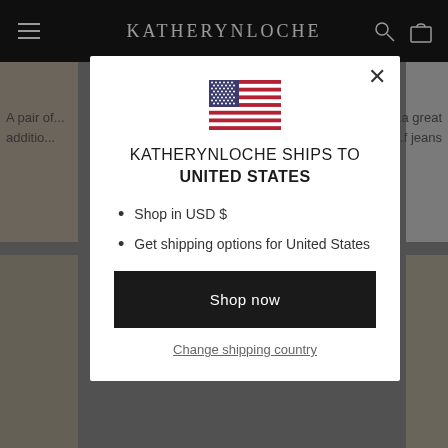KATHERYNLOCHE
[Figure (screenshot): Modal dialog on e-commerce website showing US flag, shipping destination message, bullet list, shop now button, and change shipping country link]
KATHERYNLOCHE SHIPS TO UNITED STATES
Shop in USD $
Get shipping options for United States
Shop now
Change shipping country